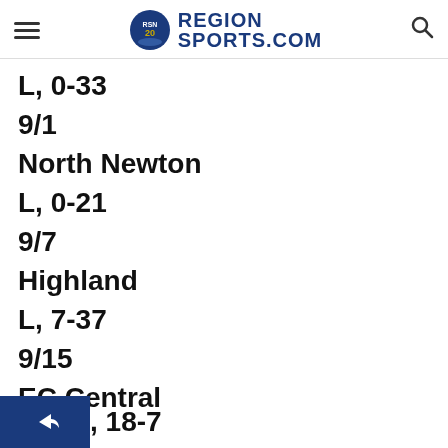RegionSports.Com
L, 0-33
9/1
North Newton
L, 0-21
9/7
Highland
L, 7-37
9/15
EC Central
, 18-7